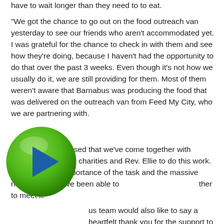have to wait longer than they need to to eat.
"We got the chance to go out on the food outreach van yesterday to see our friends who aren't accommodated yet. I was grateful for the chance to check in with them and see how they're doing, because I haven't had the opportunity to do that over the past 3 weeks. Even though it's not how we usually do it, we are still providing for them. Most of them weren't aware that Barnabus was producing the food that was delivered on the outreach van from Feed My City, who we are partnering with.
"I'm just so impressed that we've come together with community groups, charities and Rev. Ellie to do this work. We all saw the importance of the task and the massive need and we have been able to [toge]ther to meet it."
[Figure (other): Green circular play button with a blue triangle/arrow in the center, overlaid on the bottom-left of the text content.]
[Barnab]us team would also like to say a heartfelt thank you for the support to our community. Without you, we would not be in the